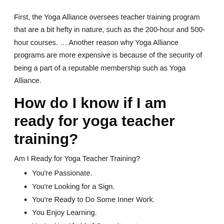First, the Yoga Alliance oversees teacher training program that are a bit hefty in nature, such as the 200-hour and 500-hour courses. … Another reason why Yoga Alliance programs are more expensive is because of the security of being a part of a reputable membership such as Yoga Alliance.
How do I know if I am ready for yoga teacher training?
Am I Ready for Yoga Teacher Training?
You're Passionate.
You're Looking for a Sign.
You're Ready to Do Some Inner Work.
You Enjoy Learning.
You're Not Afraid of Commitment.
You Don't Care What Other People Think.